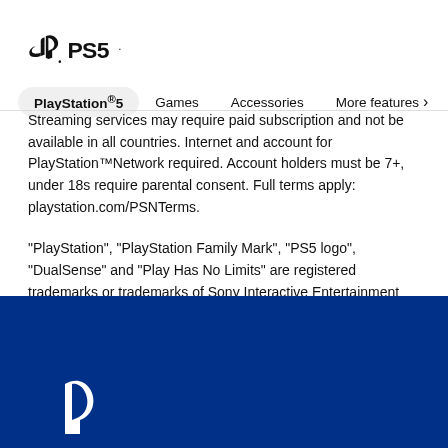[Figure (logo): PlayStation PS5 logo — PlayStation controller symbol followed by PS5 wordmark]
PlayStation®5   Games   Accessories   More features ›
Streaming services may require paid subscription and not be available in all countries. Internet and account for PlayStation™Network required. Account holders must be 7+, under 18s require parental consent. Full terms apply: playstation.com/PSNTerms.
"PlayStation", "PlayStation Family Mark", "PS5 logo", "DualSense" and "Play Has No Limits" are registered trademarks or trademarks of Sony Interactive Entertainment Inc. "SONY" is a registered trademark of Sony Corporation
[Figure (logo): Partial PlayStation logo (white) on blue footer background]